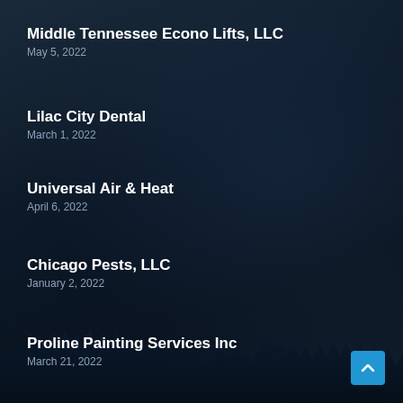Middle Tennessee Econo Lifts, LLC
May 5, 2022
Lilac City Dental
March 1, 2022
Universal Air & Heat
April 6, 2022
Chicago Pests, LLC
January 2, 2022
Proline Painting Services Inc
March 21, 2022